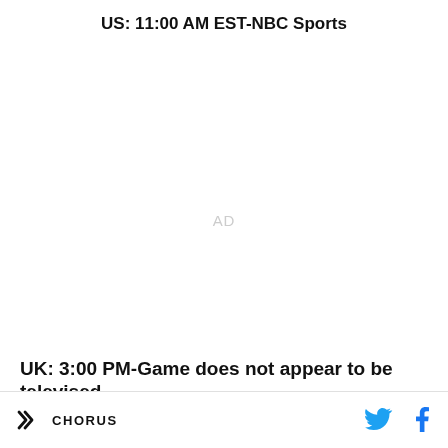US: 11:00 AM EST-NBC Sports
[Figure (other): Advertisement placeholder area showing 'AD' text in light gray]
UK: 3:00 PM-Game does not appear to be televised
Brendan Rodgers men barely got out of 2nd gear on
CHORUS